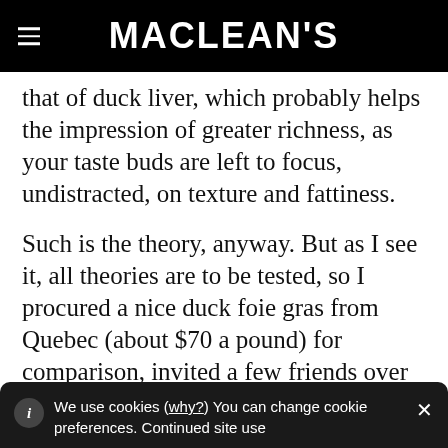MACLEAN'S
that of duck liver, which probably helps the impression of greater richness, as your taste buds are left to focus, undistracted, on texture and fattiness.
Such is the theory, anyway. But as I see it, all theories are to be tested, so I procured a nice duck foie gras from Quebec (about $70 a pound) for comparison, invited a few friends over and got to work. I wanted to roast it whole, an extremely decadent
We use cookies (why?) You can change cookie preferences. Continued site use